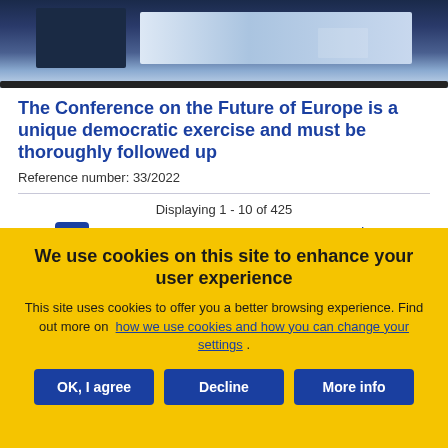[Figure (photo): Screenshot of a conference/presentation room with dark background and a screen visible in the background]
The Conference on the Future of Europe is a unique democratic exercise and must be thoroughly followed up
Reference number: 33/2022
Displaying 1 - 10 of 425
1 2 3 4 5 6 7 8 9 ... next› last»
We use cookies on this site to enhance your user experience
This site uses cookies to offer you a better browsing experience. Find out more on how we use cookies and how you can change your settings .
OK, I agree  Decline  More info